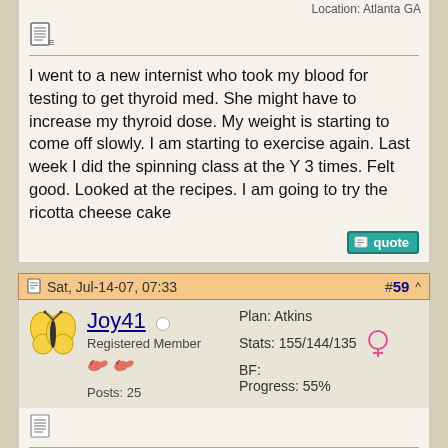Location: Atlanta GA
[Figure (screenshot): Document/post icon]
I went to a new internist who took my blood for testing to get thyroid med. She might have to increase my thyroid dose. My weight is starting to come off slowly. I am starting to exercise again. Last week I did the spinning class at the Y 3 times. Felt good. Looked at the recipes. I am going to try the ricotta cheese cake
Sat, Jul-14-07, 07:33
#59 ^
Joy41   Registered Member   Posts: 25
Plan: Atkins
Stats: 155/144/135
BF:
Progress: 55%
[Figure (screenshot): Document/post icon]
Thank you! I spent a long time last night browsing all the food lists and meal guidelines. There is a lot here, and I kept the printer busy. This is a goldmine of information and social support. I don't have a lot of weight to lose, but I want badly to integrate a healthy way of eating into my lifestyle so that there is never a sense of "going off the diet," just a slow transition into managing food for the rest of my life. I know I can never be unconscious about what I eat, but I hope to shuck the uncomfortable mind games about it, the magical thinking stuff, and guilt. I've been much larger than